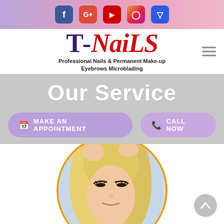[Figure (screenshot): Social media icons bar: Facebook, Google+, YouTube, Instagram, Foursquare on gradient purple-pink background]
[Figure (logo): T-Nails logo with dark purple T- and red italic Nails text. Subtitle: Professional Nails & Permanent Make-up Eyebrows Microblading]
Our Service
[Figure (infographic): Two call-to-action buttons: MAKE AN APPOINTMENT and CALL NOW on gray background]
[Figure (photo): Circular photo of blonde woman having eyebrows microbladed, with gold circle border]